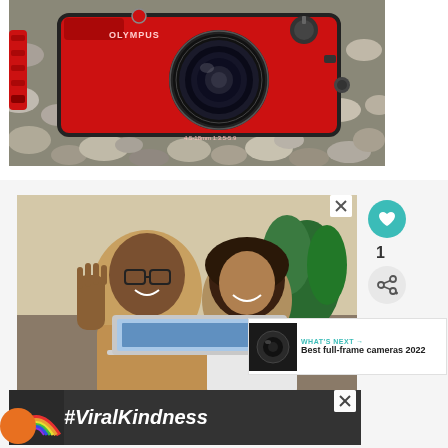[Figure (photo): Red Olympus rugged compact camera lying on pebbles/rocks with a red strap visible]
[Figure (screenshot): Screenshot of a webpage showing a man and child on a video call with a laptop, with social media UI elements (like button showing count 1, share button), a 'What's Next' recommendation panel showing 'Best full-frame cameras 2022', and a #ViralKindness advertisement banner at the bottom]